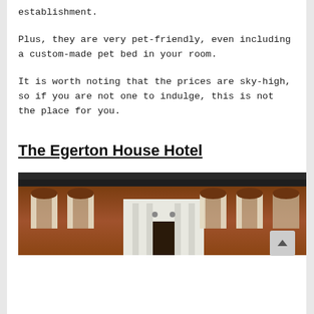establishment.
Plus, they are very pet-friendly, even including a custom-made pet bed in your room.
It is worth noting that the prices are sky-high, so if you are not one to indulge, this is not the place for you.
The Egerton House Hotel
[Figure (photo): Exterior photograph of The Egerton House Hotel, showing a red-brick Victorian building facade with white columned entrance portico, tall windows with curtains, and decorative balcony with plants at the top.]